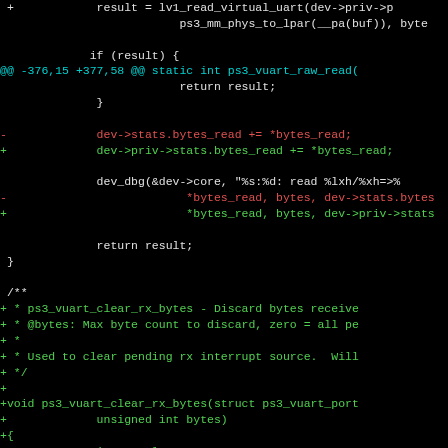[Figure (screenshot): Code diff screenshot showing changes to ps3_vuart driver in Linux kernel. Dark terminal background with color-coded diff lines: white/cyan for context, red for removed lines, green for added lines. Shows changes replacing dev->stats with dev->priv->stats, and a new function ps3_vuart_clear_rx_bytes being added.]